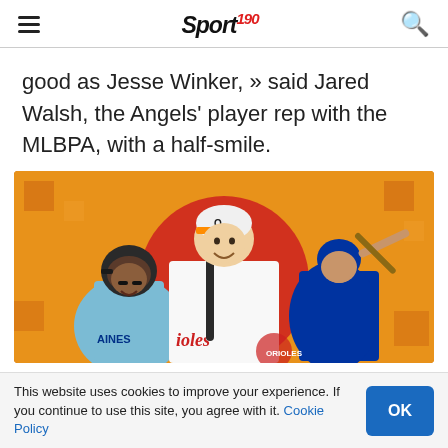Sport 190 navigation header with hamburger menu and search icon
good as Jesse Winker, » said Jared Walsh, the Angels' player rep with the MLBPA, with a half-smile.
[Figure (photo): Sports promotional graphic showing three baseball players on an orange/yellow background: a Seattle Mariners player (left), a Baltimore Orioles player in center foreground holding a bat, and a Kansas City Royals player (right) mid-swing. Text partly visible: 'AINES' and 'ioles'.]
This website uses cookies to improve your experience. If you continue to use this site, you agree with it. Cookie Policy